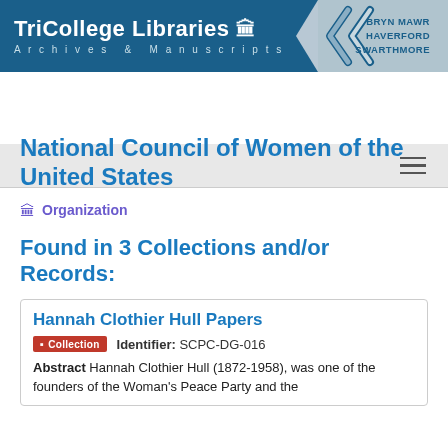TriCollege Libraries Archives & Manuscripts | BRYN MAWR HAVERFORD SWARTHMORE
National Council of Women of the United States
Organization
Found in 3 Collections and/or Records:
Hannah Clothier Hull Papers
Collection  Identifier: SCPC-DG-016
Abstract Hannah Clothier Hull (1872-1958), was one of the founders of the Woman's Peace Party and the